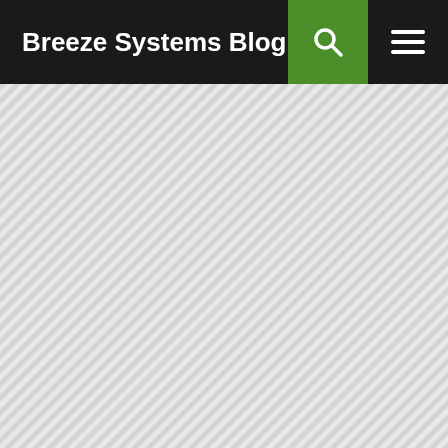Breeze Systems Blog
[Figure (other): Diagonal stripe pattern background filling the content area below the header, light gray stripes on white background at approximately 45 degree angle]